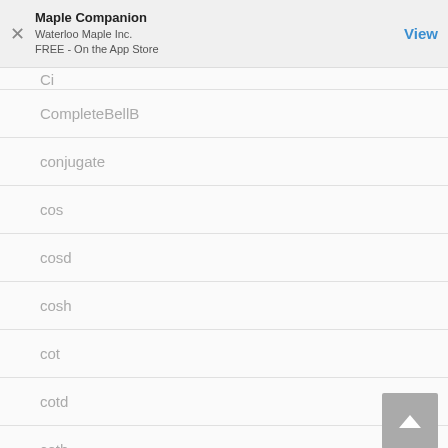Maple Companion
Waterloo Maple Inc.
FREE - On the App Store
View
Ci
CompleteBellB
conjugate
cos
cosd
cosh
cot
cotd
coth